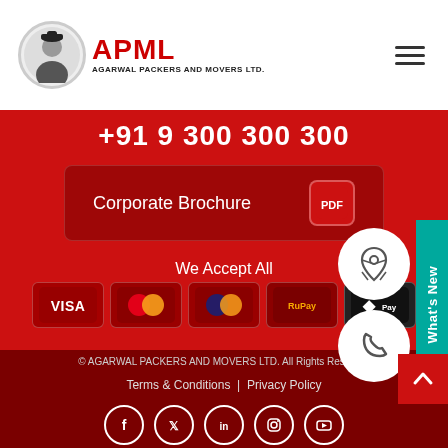[Figure (logo): APML Agarwal Packers and Movers Ltd. logo with circular portrait and red APML text]
+91 9 300 300 300
Corporate Brochure
We Accept All
[Figure (infographic): Payment method icons: VISA, Mastercard, Maestro, RuPay, Apple Pay]
What's New
© AGARWAL PACKERS AND MOVERS LTD. All Rights Reserved
Terms & Conditions  |  Privacy Policy
[Figure (infographic): Social media icons: Facebook, Twitter, LinkedIn, Instagram, YouTube]